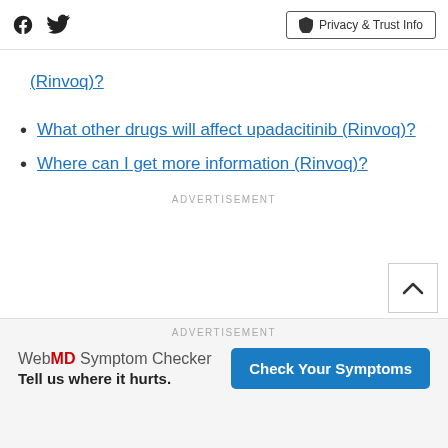Facebook Twitter | Privacy & Trust Info
(Rinvoq)?
What other drugs will affect upadacitinib (Rinvoq)?
Where can I get more information (Rinvoq)?
ADVERTISEMENT
ADVERTISEMENT
WebMD Symptom Checker Tell us where it hurts. Check Your Symptoms